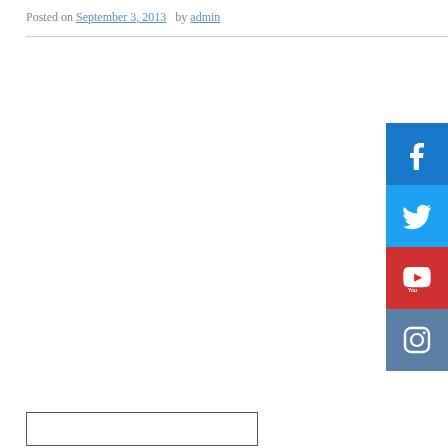Posted on September 3, 2013  by admin
[Figure (other): Social media buttons: Facebook (blue), Twitter (light blue), YouTube (red), Instagram (steel blue), displayed as a vertical stack on the right side of the page.]